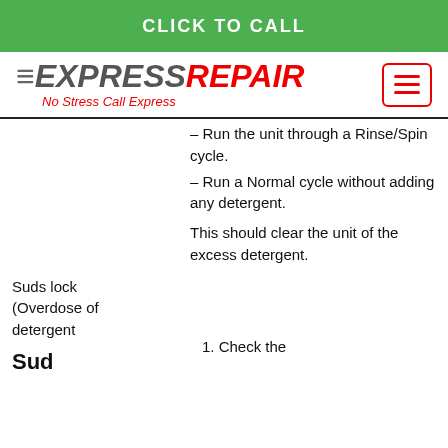CLICK TO CALL
[Figure (logo): Express Repair logo with tagline 'No Stress Call Express' and hamburger menu button]
– Run the unit through a Rinse/Spin cycle.
– Run a Normal cycle without adding any detergent.
This should clear the unit of the excess detergent.
Suds lock (Overdose of detergent
Sud
1. Check the